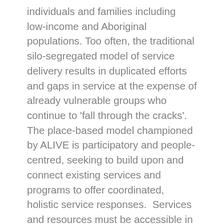individuals and families including low-income and Aboriginal populations. Too often, the traditional silo-segregated model of service delivery results in duplicated efforts and gaps in service at the expense of already vulnerable groups who continue to 'fall through the cracks'. The place-based model championed by ALIVE is participatory and people-centred, seeking to build upon and connect existing services and programs to offer coordinated, holistic service responses.  Services and resources must be accessible in all neighbourhoods if we are to make any significant progress towards building healthy, vibrant, sustainable communities in Vancouver where everyone is able to claim their right to